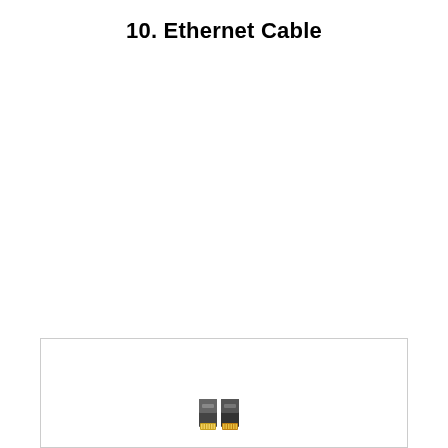10. Ethernet Cable
[Figure (photo): Photo of two Ethernet cable connectors (RJ45 plugs) shown at the bottom of the page, with gold-colored contacts visible, partially cut off at the bottom edge.]